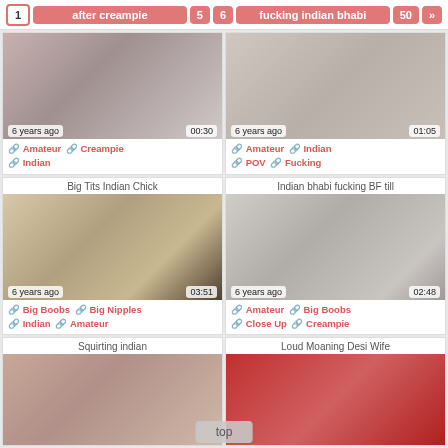Pagination: 1, after creampie, 5, 6, fucking indian bhabi, 50, »
[Figure (photo): Blurred adult thumbnail with overlay: 6 years ago | 00:30]
🔗 Amateur 🔗 Creampie 🔗 Indian
[Figure (photo): Blurred adult thumbnail with overlay: 6 years ago | 01:05]
🔗 Amateur 🔗 Indian 🔗 POV 🔗 Fucking
Big Tits Indian Chick
Indian bhabi fucking BF till
[Figure (photo): Thumbnail showing woman, 6 years ago | 03:51]
🔗 Big Boobs 🔗 Big Nipples 🔗 Indian 🔗 Amateur
[Figure (photo): Blurred adult thumbnail, 6 years ago | 02:48]
🔗 Amateur 🔗 Big Boobs 🔗 Close Up 🔗 Creampie
Squirting indian
Loud Moaning Desi Wife
[Figure (photo): Partial thumbnail bottom row left]
[Figure (photo): Partial thumbnail bottom row right, red/pink tones]
top